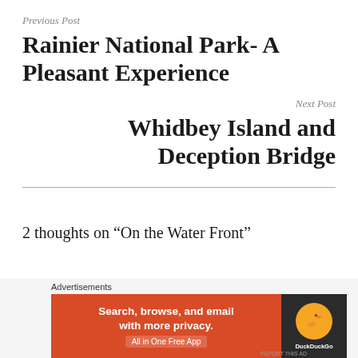Previous Post
Rainier National Park- A Pleasant Experience
Next Post
Whidbey Island and Deception Bridge
2 thoughts on “On the Water Front”
[Figure (other): DuckDuckGo advertisement banner: orange left panel with text 'Search, browse, and email with more privacy. All in One Free App' and dark right panel with DuckDuckGo duck logo and name.]